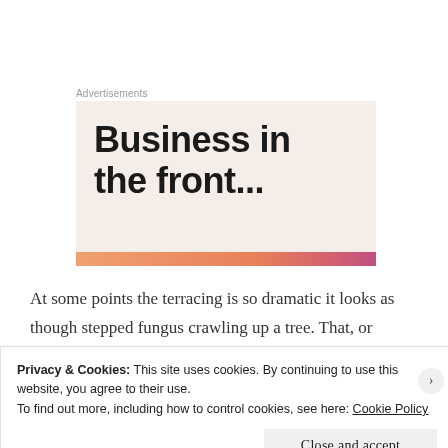Advertisements
[Figure (illustration): Advertisement banner with light pink/beige background showing bold text 'Business in the front...' with a gradient orange-to-pink bar at the bottom]
At some points the terracing is so dramatic it looks as though stepped fungus crawling up a tree. That, or chipped pieces of sponge toffee that has melted onto the surface of the earth
Privacy & Cookies: This site uses cookies. By continuing to use this website, you agree to their use.
To find out more, including how to control cookies, see here: Cookie Policy
Close and accept